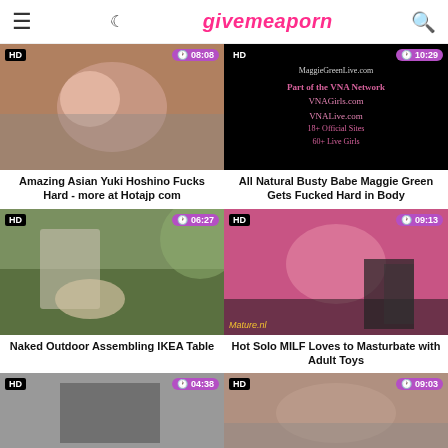GiveMeAPorn
[Figure (screenshot): Video thumbnail: Asian woman in pink lingerie. HD badge, duration 08:08]
Amazing Asian Yuki Hoshino Fucks Hard - more at Hotajp com
[Figure (screenshot): Video thumbnail: black screen with VNA Network text - MaggieGreenLive.com. HD badge, duration 10:29]
All Natural Busty Babe Maggie Green Gets Fucked Hard in Body
[Figure (screenshot): Video thumbnail: Naked woman outdoors assembling furniture. HD badge, duration 06:27]
Naked Outdoor Assembling IKEA Table
[Figure (screenshot): Video thumbnail: Woman in pink corset and black stockings on red background. Mature.nl watermark. HD badge, duration 09:13]
Hot Solo MILF Loves to Masturbate with Adult Toys
[Figure (screenshot): Video thumbnail: partially visible. HD badge, duration 04:38]
[Figure (screenshot): Video thumbnail: partially visible, couple on couch. HD badge, duration 09:03]